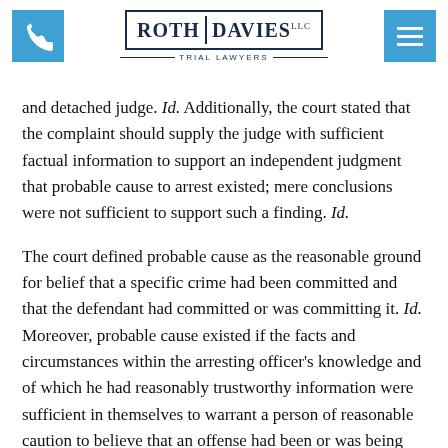Roth Davies LLC — Trial Lawyers
and detached judge. Id. Additionally, the court stated that the complaint should supply the judge with sufficient factual information to support an independent judgment that probable cause to arrest existed; mere conclusions were not sufficient to support such a finding. Id.
The court defined probable cause as the reasonable ground for belief that a specific crime had been committed and that the defendant had committed or was committing it. Id. Moreover, probable cause existed if the facts and circumstances within the arresting officer's knowledge and of which he had reasonably trustworthy information were sufficient in themselves to warrant a person of reasonable caution to believe that an offense had been or was being committed. Id.